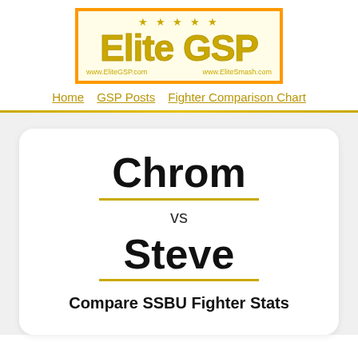[Figure (logo): Elite GSP logo with orange border, yellow background, gold stars above large gold 'Elite GSP' text, and URLs www.EliteGSP.com and www.EliteSmash.com below]
Home   GSP Posts   Fighter Comparison Chart
Chrom vs Steve Compare SSBU Fighter Stats